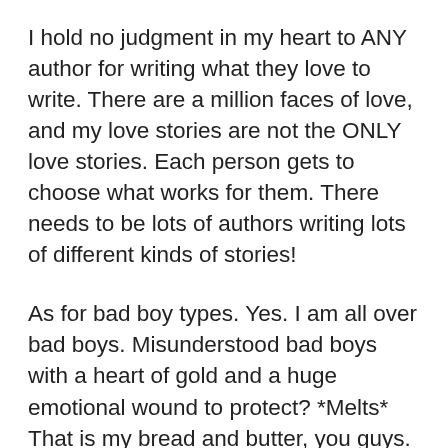I hold no judgment in my heart to ANY author for writing what they love to write. There are a million faces of love, and my love stories are not the ONLY love stories. Each person gets to choose what works for them. There needs to be lots of authors writing lots of different kinds of stories!
As for bad boy types. Yes. I am all over bad boys. Misunderstood bad boys with a heart of gold and a huge emotional wound to protect? *Melts* That is my bread and butter, you guys.
All that said, I have to point out that nice guys can still be sexually aggressive. Sweet guys can